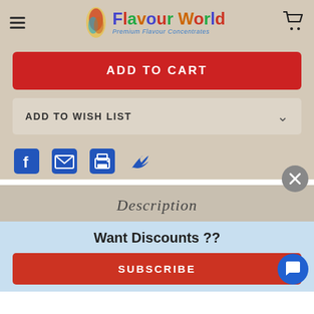Flavour World — Premium Flavour Concentrates
ADD TO CART
ADD TO WISH LIST
[Figure (other): Social sharing icons: Facebook, Email, Print, Twitter]
Description
Want Discounts ??
SUBSCRIBE